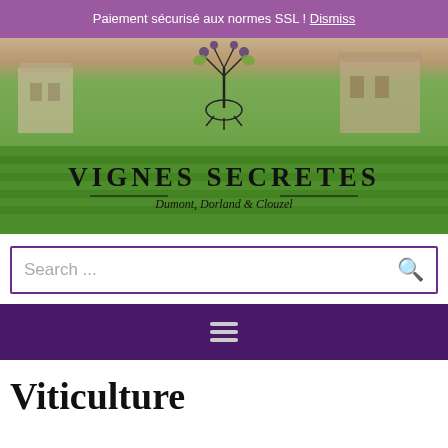Paiement sécurisé aux normes SSL ! Dismiss
[Figure (illustration): Hero banner showing vineyard with green vines in foreground, building in background, vine/grapevine illustration at top center, 'VIGNES SECRETES' in large serif font, subtitle 'Dumont, Dorland & Clouzel' with decorative line]
Search ...
[Figure (other): Dark purple navigation bar with hamburger menu icon (three horizontal lines)]
Viticulture